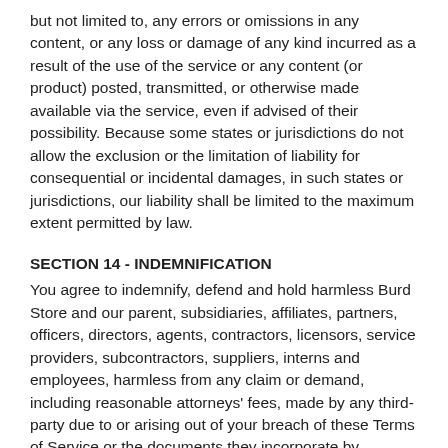but not limited to, any errors or omissions in any content, or any loss or damage of any kind incurred as a result of the use of the service or any content (or product) posted, transmitted, or otherwise made available via the service, even if advised of their possibility. Because some states or jurisdictions do not allow the exclusion or the limitation of liability for consequential or incidental damages, in such states or jurisdictions, our liability shall be limited to the maximum extent permitted by law.
SECTION 14 - INDEMNIFICATION
You agree to indemnify, defend and hold harmless Burd Store and our parent, subsidiaries, affiliates, partners, officers, directors, agents, contractors, licensors, service providers, subcontractors, suppliers, interns and employees, harmless from any claim or demand, including reasonable attorneys' fees, made by any third-party due to or arising out of your breach of these Terms of Service or the documents they incorporate by reference, or your violation of any law or the rights of a third-party.